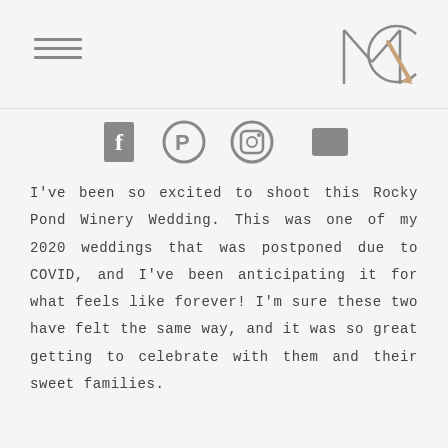[Figure (logo): Stylized MC logo with pencil, in gray/brown tones, top right corner]
[Figure (infographic): Row of social media icons: Facebook, Pinterest, Instagram, and a rectangular icon (likely Houzz or similar), shown in gray]
I've been so excited to shoot this Rocky Pond Winery Wedding. This was one of my 2020 weddings that was postponed due to COVID, and I've been anticipating it for what feels like forever! I'm sure these two have felt the same way, and it was so great getting to celebrate with them and their sweet families.